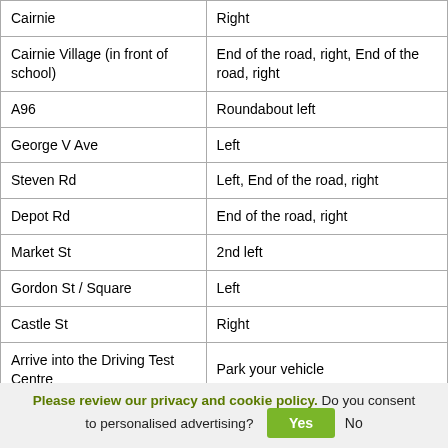| Location | Direction |
| --- | --- |
| Cairnie | Right |
| Cairnie Village (in front of school) | End of the road, right, End of the road, right |
| A96 | Roundabout left |
| George V Ave | Left |
| Steven Rd | Left, End of the road, right |
| Depot Rd | End of the road, right |
| Market St | 2nd left |
| Gordon St / Square | Left |
| Castle St | Right |
| Arrive into the Driving Test Centre | Park your vehicle |
Please review our privacy and cookie policy. Do you consent to personalised advertising? Yes No